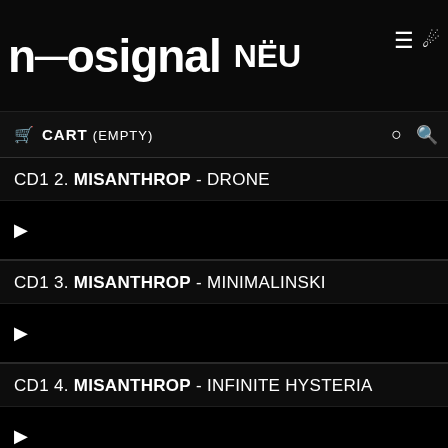neosignal NEU
CART (EMPTY)
CD1 2. MISANTHROP - DRONE
CD1 3. MISANTHROP - MINIMALINSKI
CD1 4. MISANTHROP - INFINITE HYSTERIA
CD1 5. MISANTHROP - DARKNET
CD1 6. MISANTHROP - NOTBOT